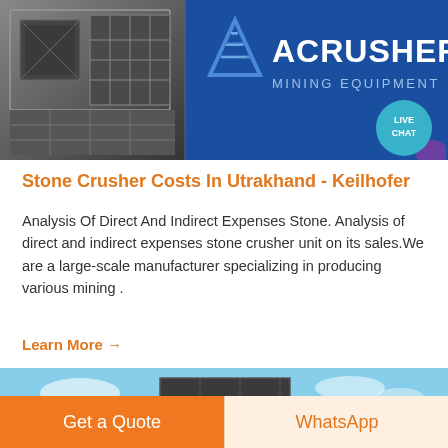[Figure (photo): ACRUSHER Mining Equipment company sign and logo on blue background, with industrial equipment visible on the left side. A teal 'LIVE CHAT' speech bubble appears in the lower right corner of the image.]
Stone Crusher Costs In Utrakhand - Keilhofer
Analysis Of Direct And Indirect Expenses Stone. Analysis of direct and indirect expenses stone crusher unit on its sales.We are a large-scale manufacturer specializing in producing various mining .
Learn More →
[Figure (photo): Industrial mining equipment (crusher/screening unit) against a blue sky background.]
Get a Quote
WhatsApp